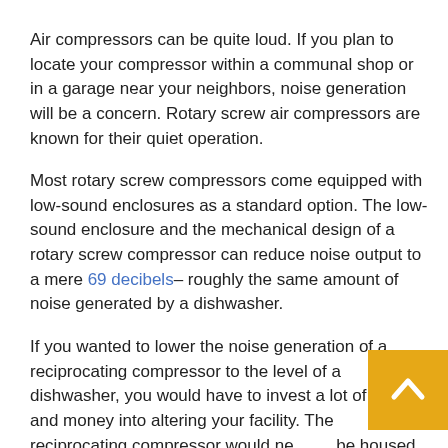Air compressors can be quite loud. If you plan to locate your compressor within a communal shop or in a garage near your neighbors, noise generation will be a concern. Rotary screw air compressors are known for their quiet operation.
Most rotary screw compressors come equipped with low-sound enclosures as a standard option. The low-sound enclosure and the mechanical design of a rotary screw compressor can reduce noise output to a mere 69 decibels– roughly the same amount of noise generated by a dishwasher.
If you wanted to lower the noise generation of a reciprocating compressor to the level of a dishwasher, you would have to invest a lot of time and money into altering your facility. The reciprocating compressor would need to be housed in a customized enclosure equipped with dampening panels or modified by adding a muffler to the
[Figure (other): Back to top button — an amber/gold square button with a white upward-pointing chevron arrow icon.]